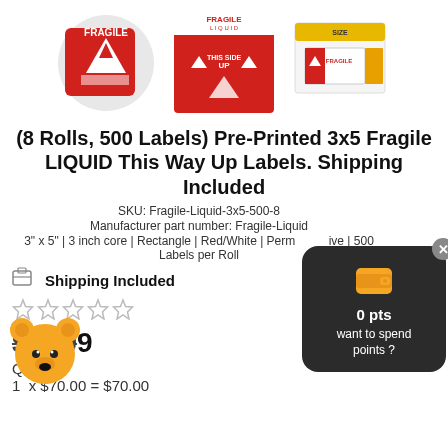[Figure (photo): Three product images: a roll of red FRAGILE stickers, a red FRAGILE LIQUID THIS SIDE UP label, and a sheet of fragile labels with orange/yellow packaging]
(8 Rolls, 500 Labels) Pre-Printed 3x5 Fragile LIQUID This Way Up Labels. Shipping Included
SKU: Fragile-Liquid-3x5-500-8
Manufacturer part number: Fragile-Liquid
3" x 5" | 3 inch core | Rectangle | Red/White | Permanent Adhesive | 500 Labels per Roll
📦 Shipping Included
☆☆☆☆☆
$79.99
Qty:
1  x $70.00 = $70.00
[Figure (illustration): Dark popup overlay with wallet icon showing 0 pts want to spend points?]
[Figure (illustration): Yellow bear mascot emoji covering price area]